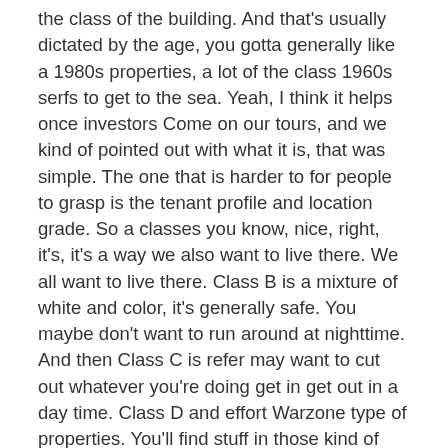the class of the building. And that's usually dictated by the age, you gotta generally like a 1980s properties, a lot of the class 1960s serfs to get to the sea. Yeah, I think it helps once investors Come on our tours, and we kind of pointed out with what it is, that was simple. The one that is harder to for people to grasp is the tenant profile and location grade. So a classes you know, nice, right, it's, it's a way we also want to live there. We all want to live there. Class B is a mixture of white and color, it's generally safe. You maybe don't want to run around at nighttime. And then Class C is refer may want to cut out whatever you're doing get in get out in a day time. Class D and effort Warzone type of properties. You'll find stuff in those kind of areas. But yeah, I mean not to be sexist say that like that, but a young female can go running or jogging at nighttime in a class, she might be able to only do that in the V class, neighborhood during the day time. Hobbies can hang out in a class C area.